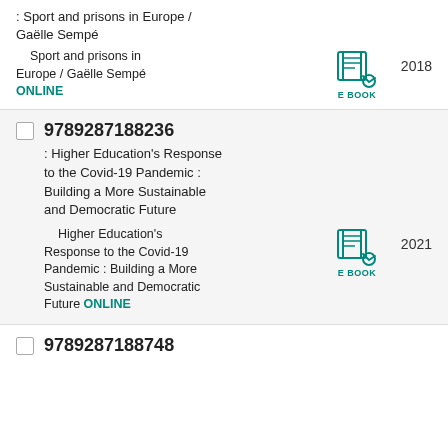: Sport and prisons in Europe / Gaëlle Sempé
Sport and prisons in Europe / Gaëlle Sempé ONLINE  2018
9789287188236 : Higher Education's Response to the Covid-19 Pandemic : Building a More Sustainable and Democratic Future
Higher Education's Response to the Covid-19 Pandemic : Building a More Sustainable and Democratic Future ONLINE  2021
9789287188748